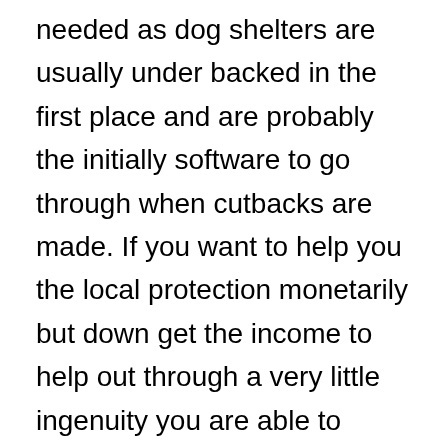needed as dog shelters are usually under backed in the first place and are probably the initially software to go through when cutbacks are made. If you want to help you the local protection monetarily but down get the income to help out through a very little ingenuity you are able to usually make a approach to secure the shelter. Look at positioning a bake or storage area transaction and permit individuals recognize that all earnings may go right to your local protection. Many people who otherwise would not be involved in anything will be more then willing to assist when it is for the very good trigger. Utilize your imagination and you